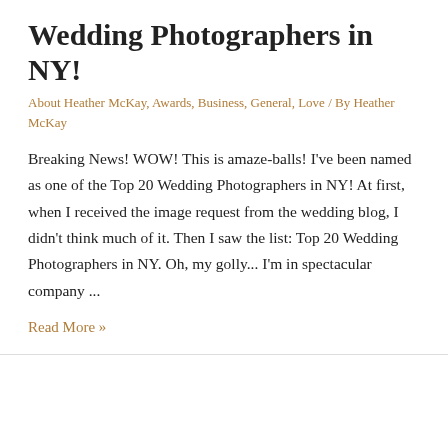Wedding Photographers in NY!
About Heather McKay, Awards, Business, General, Love / By Heather McKay
Breaking News! WOW! This is amaze-balls! I've been named as one of the Top 20 Wedding Photographers in NY! At first, when I received the image request from the wedding blog, I didn't think much of it. Then I saw the list: Top 20 Wedding Photographers in NY. Oh, my golly... I'm in spectacular company ...
Read More »